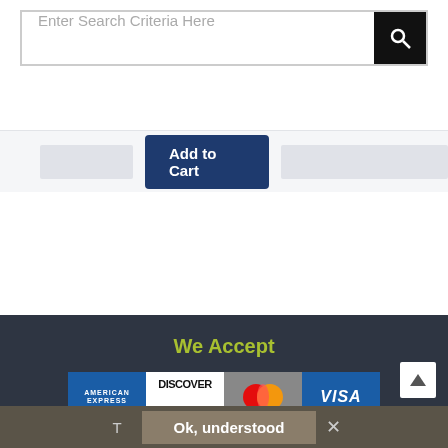[Figure (screenshot): Search bar with placeholder text 'Enter Search Criteria Here' and a black search button with magnifying glass icon]
[Figure (screenshot): Add to Cart button in dark navy blue with input placeholders]
[Figure (screenshot): Four payment card logos: American Express, Discover, Mastercard, Visa in a row]
We Accept
Useful Links
View Cart
Checkout
Ok, understood